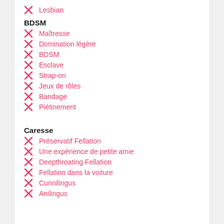Lesbian
BDSM
Maîtresse
Domination légère
BDSM
Esclave
Strap-on
Jeux de rôles
Bandage
Piétinement
Caresse
Préservatif Fellation
Une expérience de petite amie
Deepthroating Fellation
Fellation dans la voiture
Cunnilingus
Anilingus